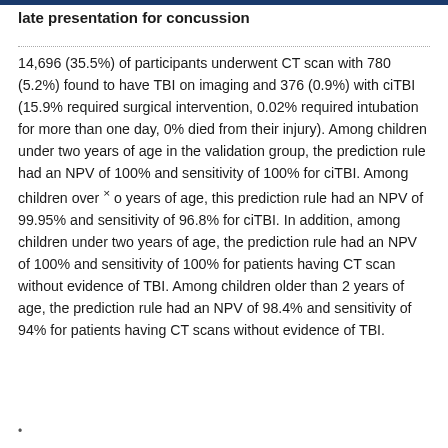late presentation for concussion
14,696 (35.5%) of participants underwent CT scan with 780 (5.2%) found to have TBI on imaging and 376 (0.9%) with ciTBI (15.9% required surgical intervention, 0.02% required intubation for more than one day, 0% died from their injury). Among children under two years of age in the validation group, the prediction rule had an NPV of 100% and sensitivity of 100% for ciTBI. Among children over × o years of age, this prediction rule had an NPV of 99.95% and sensitivity of 96.8% for ciTBI. In addition, among children under two years of age, the prediction rule had an NPV of 100% and sensitivity of 100% for patients having CT scan without evidence of TBI. Among children older than 2 years of age, the prediction rule had an NPV of 98.4% and sensitivity of 94% for patients having CT scans without evidence of TBI.